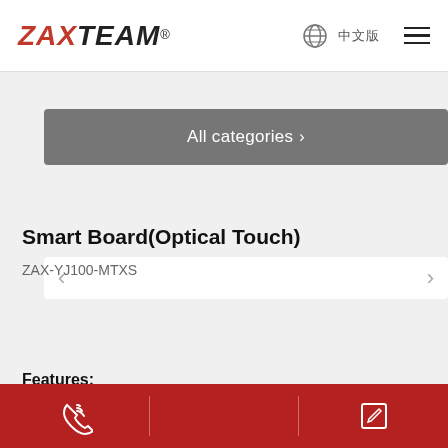ZAXTEAM® — navigation bar with logo, language selector, and hamburger menu
All categories >
[Figure (other): Carousel image navigation bar with left and right arrow buttons]
Smart Board(Optical Touch)
ZAX-YJ100-MTXS
Description   Parameters   Downloads
Features:
Bottom action bar with phone and edit icons